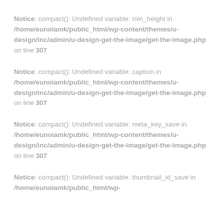Notice: compact(): Undefined variable: min_height in /home/eunoiamk/public_html/wp-content/themes/u-design/inc/admin/u-design-get-the-image/get-the-image.php on line 307
Notice: compact(): Undefined variable: caption in /home/eunoiamk/public_html/wp-content/themes/u-design/inc/admin/u-design-get-the-image/get-the-image.php on line 307
Notice: compact(): Undefined variable: meta_key_save in /home/eunoiamk/public_html/wp-content/themes/u-design/inc/admin/u-design-get-the-image/get-the-image.php on line 307
Notice: compact(): Undefined variable: thumbnail_id_save in /home/eunoiamk/public_html/wp-